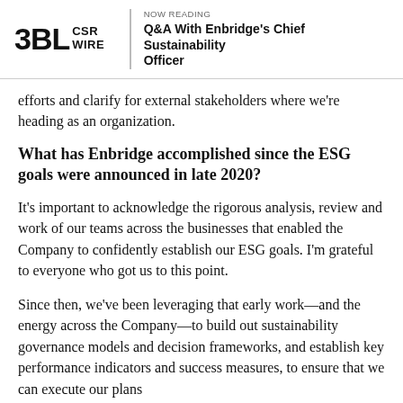3BL CSR WIRE | NOW READING Q&A With Enbridge's Chief Sustainability Officer
efforts and clarify for external stakeholders where we're heading as an organization.
What has Enbridge accomplished since the ESG goals were announced in late 2020?
It's important to acknowledge the rigorous analysis, review and work of our teams across the businesses that enabled the Company to confidently establish our ESG goals. I'm grateful to everyone who got us to this point.
Since then, we've been leveraging that early work—and the energy across the Company—to build out sustainability governance models and decision frameworks, and establish key performance indicators and success measures, to ensure that we can execute our plans